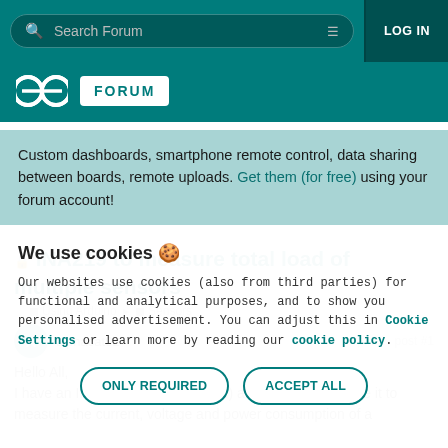Search Forum   LOG IN
[Figure (logo): Arduino infinity logo and FORUM badge on teal background]
Custom dashboards, smartphone remote control, data sharing between boards, remote uploads. Get them (for free) using your forum account!
INA219 to measure total load of multiple sensors
Using Arduino > Sensors
alphacat92   Apr 15   post #1
Hello All,
I have an INA219 (default knick-off) and would like to wire it to measure the current, voltage and power consumption of a
We use cookies 🍪
Our websites use cookies (also from third parties) for functional and analytical purposes, and to show you personalised advertisement. You can adjust this in Cookie Settings or learn more by reading our cookie policy.
ONLY REQUIRED   ACCEPT ALL